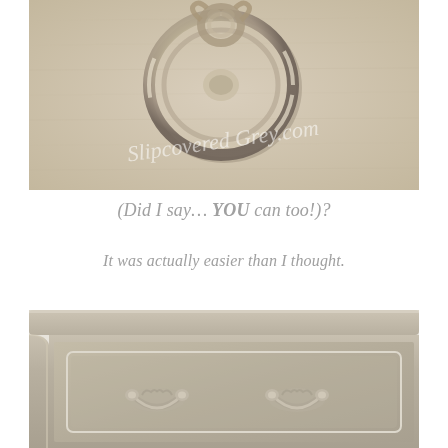[Figure (photo): Close-up photo of an ornate antique metallic drawer pull/handle on a painted furniture piece. The hardware is a decorative round bail pull with scrollwork, finished in aged silver/pewter tones. Background is a warm beige/taupe painted wood surface. A watermark reads 'Slipcovered Grey.com' in cursive script across the lower portion of the image.]
(Did I say… YOU can too!)?
It was actually easier than I thought.
[Figure (photo): Photo of the top portion of a French provincial style chest of drawers/dresser painted in a warm greige/silver-grey chalk paint finish. Visible is the curved top edge, a drawer with a recessed panel framed by a thin white line detail, and two ornate bail-style drawer pulls finished in the same painted colour as the dresser body.]